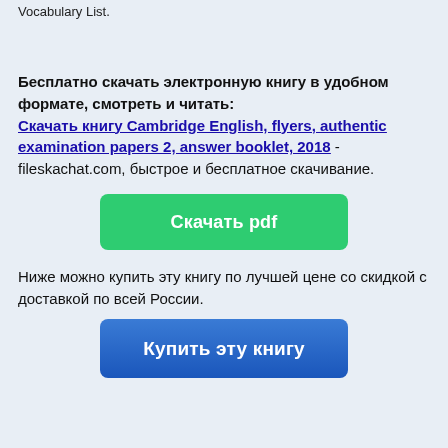Vocabulary List.
Бесплатно скачать электронную книгу в удобном формате, смотреть и читать: Скачать книгу Cambridge English, flyers, authentic examination papers 2, answer booklet, 2018 - fileskachat.com, быстрое и бесплатное скачивание.
[Figure (other): Green button labeled 'Скачать pdf']
Ниже можно купить эту книгу по лучшей цене со скидкой с доставкой по всей России.
[Figure (other): Blue button labeled 'Купить эту книгу']